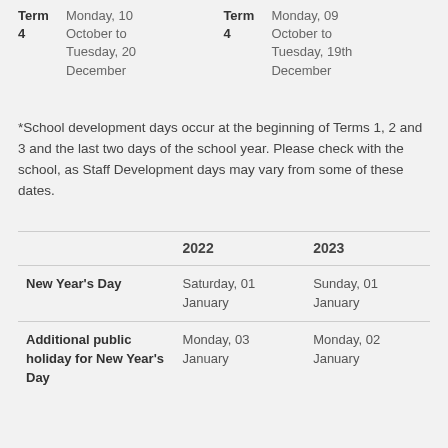|  | Term dates |  | Term dates |
| --- | --- | --- | --- |
| Term 4 | Monday, 10 October to Tuesday, 20 December | Term 4 | Monday, 09 October to Tuesday, 19th December |
*School development days occur at the beginning of Terms 1, 2 and 3 and the last two days of the school year. Please check with the school, as Staff Development days may vary from some of these dates.
|  | 2022 | 2023 |
| --- | --- | --- |
| New Year's Day | Saturday, 01 January | Sunday, 01 January |
| Additional public holiday for New Year's Day | Monday, 03 January | Monday, 02 January |